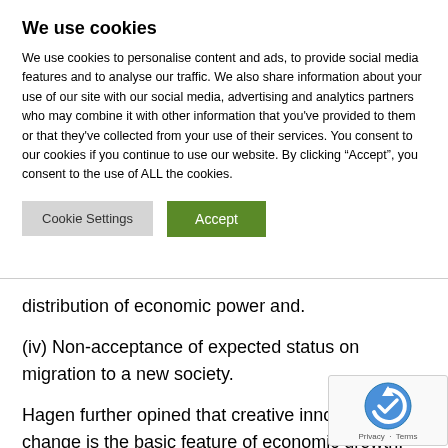We use cookies
We use cookies to personalise content and ads, to provide social media features and to analyse our traffic. We also share information about your use of our site with our social media, advertising and analytics partners who may combine it with other information that you've provided to them or that they've collected from your use of their services. You consent to our cookies if you continue to use our website. By clicking “Accept”, you consent to the use of ALL the cookies.
distribution of economic power and.
(iv) Non-acceptance of expected status on migration to a new society.
Hagen further opined that creative innovation or change is the basic feature of economic growth. He described entrepreneur as a creative problem shooter interested in